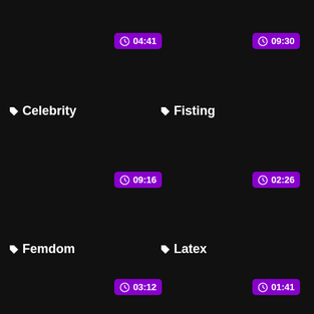[Figure (screenshot): Dark background UI screenshot showing video category tags with duration badges. Categories: Celebrity (04:41), Fisting (09:30), Femdom (09:16), (02:26), Femdom (03:12), Latex (01:41).]
Celebrity
Fisting
04:41
09:30
09:16
02:26
Femdom
Latex
03:12
01:41